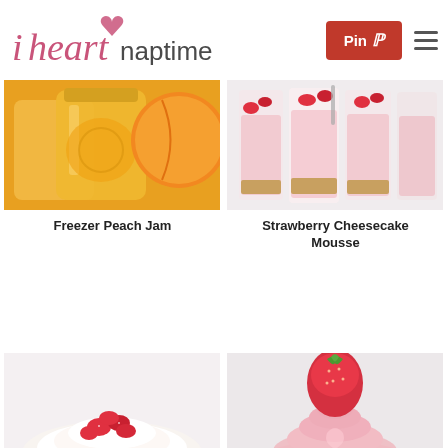i heart naptime | Pin | menu
[Figure (photo): Mason jars filled with golden peach jam with whole peaches in background]
Freezer Peach Jam
[Figure (photo): Tall glasses with strawberry cheesecake mousse topped with fresh strawberry pieces]
Strawberry Cheesecake Mousse
[Figure (photo): Pavlova or meringue topped with sliced strawberries on white background]
[Figure (photo): Swirled pink frosting topped with a whole strawberry]